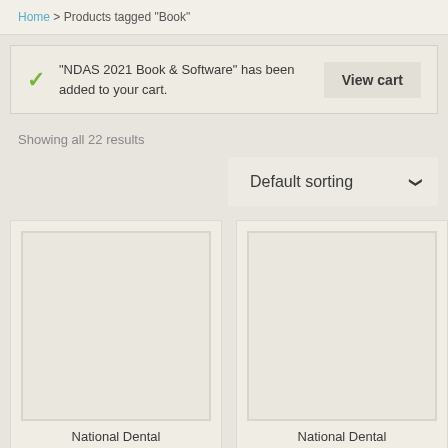Home > Products tagged "Book"
"NDAS 2021 Book & Software" has been added to your cart.
Showing all 22 results
Default sorting
National Dental
National Dental